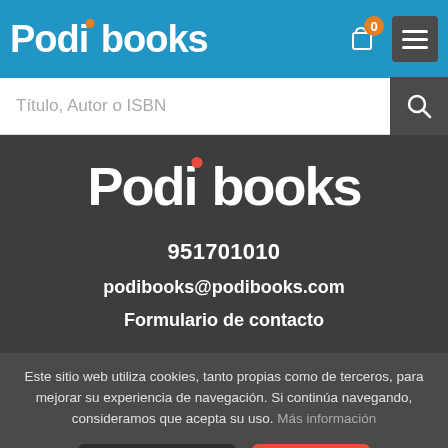Podibooks — navigation header with logo, cart (0 items), and menu button
Título, Autor o ISBN
[Figure (logo): Podibooks logo in white on dark grey background]
951701010
podibooks@podibooks.com
Formulario de contacto
Este sitio web utiliza cookies, tanto propias como de terceros, para mejorar su experiencia de navegación. Si continúa navegando, consideramos que acepta su uso. Más información
Aceptar cookies
Denegar